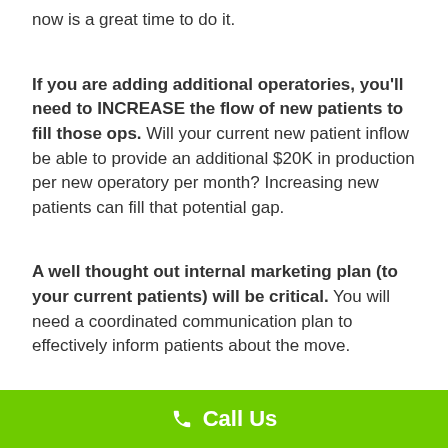now is a great time to do it.
If you are adding additional operatories, you'll need to INCREASE the flow of new patients to fill those ops. Will your current new patient inflow be able to provide an additional $20K in production per new operatory per month? Increasing new patients can fill that potential gap.
A well thought out internal marketing plan (to your current patients) will be critical. You will need a coordinated communication plan to effectively inform patients about the move.
Call Us